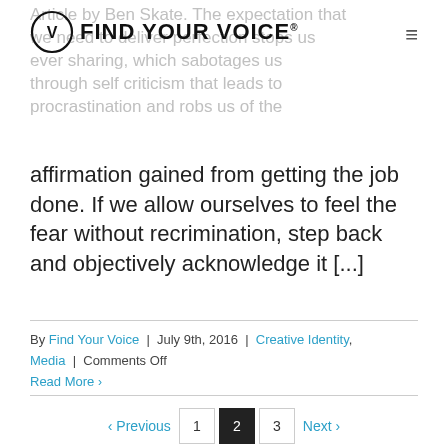[Figure (logo): Find Your Voice logo with circle V icon and text FIND YOUR VOICE with registered trademark symbol]
Article by Ben Skate. The expectation that we need to deliver perfection stops us ever sharing, which sabotages us through self criticism that leads to procrastination and robs us of the affirmation gained from getting the job done. If we allow ourselves to feel the fear without recrimination, step back and objectively acknowledge it [...]
By Find Your Voice | July 9th, 2016 | Creative Identity, Media | Comments Off
Read More >
< Previous  1  2  3  Next >